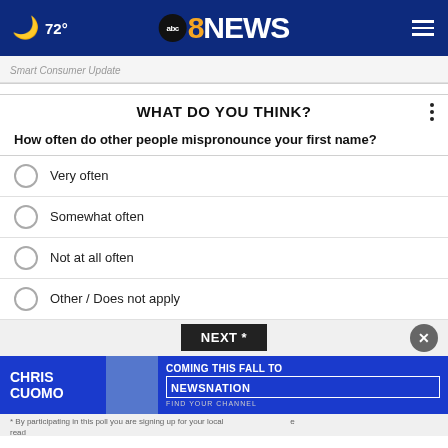72° abc8NEWS
Smart Consumer Update
WHAT DO YOU THINK?
How often do other people mispronounce your first name?
Very often
Somewhat often
Not at all often
Other / Does not apply
NEXT *
[Figure (photo): Chris Cuomo Coming This Fall to NewsNation advertisement banner]
* By participating in this poll you are signing up for...